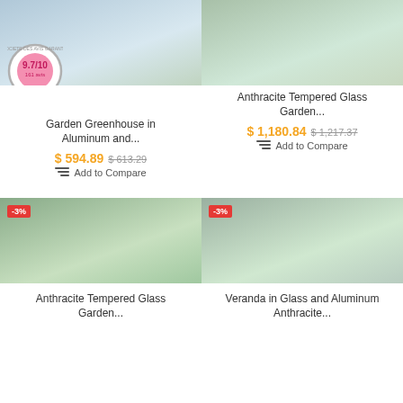[Figure (photo): Garden greenhouse in aluminum, partial top view, with rating badge 9.7/10]
[Figure (photo): Anthracite tempered glass garden greenhouse, partial top view]
Garden Greenhouse in Aluminum and...
Anthracite Tempered Glass Garden...
$ 594.89 $ 613.29
$ 1,180.84 $ 1,217.37
Add to Compare
Add to Compare
[Figure (photo): Anthracite tempered glass garden greenhouse with -3% badge]
[Figure (photo): Veranda in glass and aluminum anthracite with -3% badge]
Anthracite Tempered Glass Garden...
Veranda in Glass and Aluminum Anthracite...